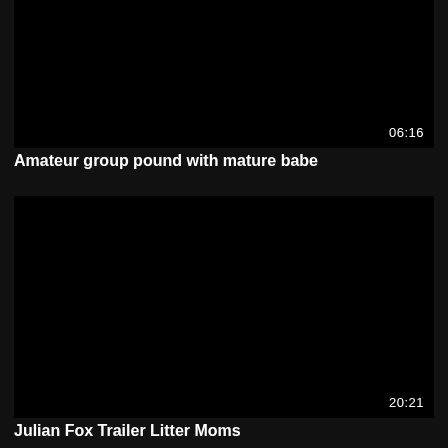[Figure (photo): Black video thumbnail with duration overlay showing 06:16]
Amateur group pound with mature babe
[Figure (photo): Black video thumbnail with duration overlay showing 20:21]
Julian Fox Trailer Litter Moms